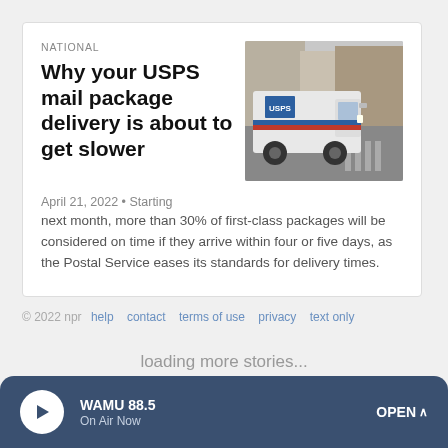NATIONAL
Why your USPS mail package delivery is about to get slower
[Figure (photo): A white USPS mail delivery truck driving on a city street]
April 21, 2022 • Starting next month, more than 30% of first-class packages will be considered on time if they arrive within four or five days, as the Postal Service eases its standards for delivery times.
© 2022 npr   help   contact   terms of use   privacy   text only
loading more stories...
WAMU 88.5
On Air Now
OPEN ^